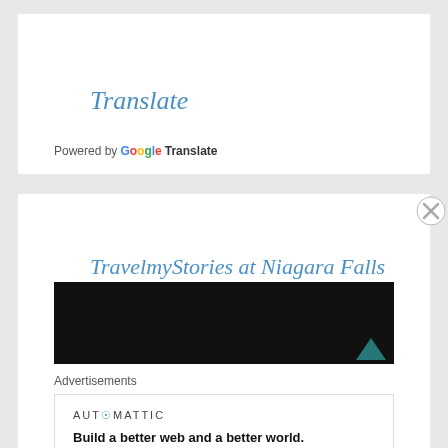Translate
Select Language  ∨
Powered by Google Translate
TravelmyStories at Niagara Falls
[Figure (screenshot): Black banner/video area with a small teal triangle/play icon in bottom right]
Advertisements
AUTOMATTIC
Build a better web and a better world.